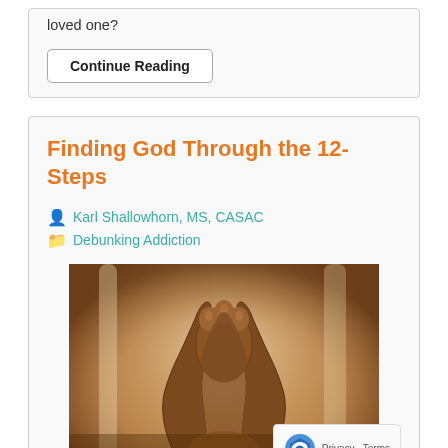loved one?
Continue Reading
Finding God Through the 12-Steps
Karl Shallowhorn, MS, CASAC
Debunking Addiction
[Figure (photo): Sepia-toned photograph of clasped praying hands]